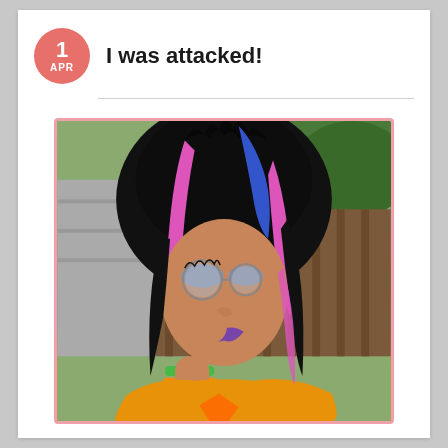I was attacked!
[Figure (photo): Person in dramatic makeup with black, blue, and pink streaked hair, round sunglasses, heavy eye makeup with long lashes, purple lipstick, colorful wristbands, and a yellow/orange off-shoulder top with a graphic print. Outdoor setting with wooden fence and trees in background.]